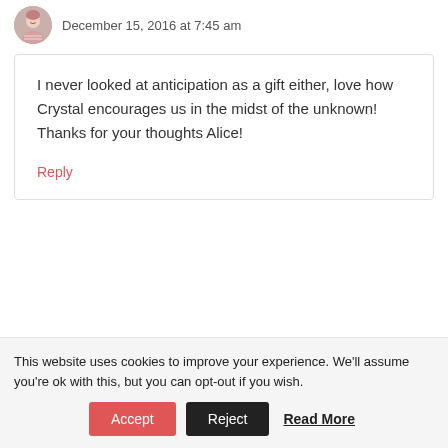[Figure (photo): Avatar photo of a woman with short hair wearing a striped shirt, circular crop]
December 15, 2016 at 7:45 am
I never looked at anticipation as a gift either, love how Crystal encourages us in the midst of the unknown! Thanks for your thoughts Alice!
Reply
This website uses cookies to improve your experience. We'll assume you're ok with this, but you can opt-out if you wish.
Accept | Reject | Read More